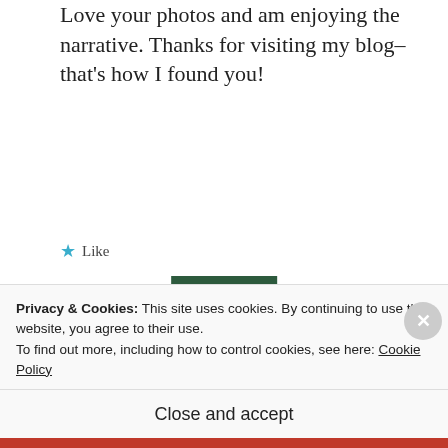Love your photos and am enjoying the narrative. Thanks for visiting my blog–that's how I found you!
★ Like
REPLY
[Figure (photo): Circular avatar photo of a woman holding a camera up to her face, outdoors with natural background]
Where's Wiwi?
AUGUST 12, 2012 AT 10:01 AM
Privacy & Cookies: This site uses cookies. By continuing to use this website, you agree to their use.
To find out more, including how to control cookies, see here: Cookie Policy
Close and accept